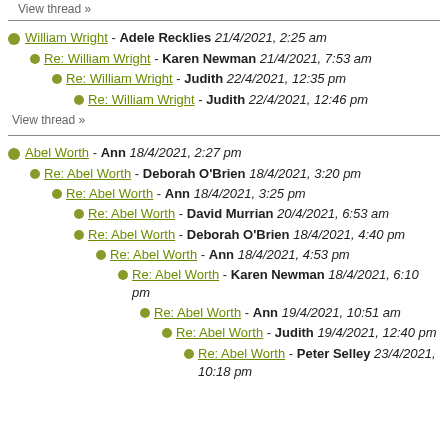View thread »
William Wright - Adele Recklies 21/4/2021, 2:25 am
Re: William Wright - Karen Newman 21/4/2021, 7:53 am
Re: William Wright - Judith 22/4/2021, 12:35 pm
Re: William Wright - Judith 22/4/2021, 12:46 pm
View thread »
Abel Worth - Ann 18/4/2021, 2:27 pm
Re: Abel Worth - Deborah O'Brien 18/4/2021, 3:20 pm
Re: Abel Worth - Ann 18/4/2021, 3:25 pm
Re: Abel Worth - David Murrian 20/4/2021, 6:53 am
Re: Abel Worth - Deborah O'Brien 18/4/2021, 4:40 pm
Re: Abel Worth - Ann 18/4/2021, 4:53 pm
Re: Abel Worth - Karen Newman 18/4/2021, 6:10 pm
Re: Abel Worth - Ann 19/4/2021, 10:51 am
Re: Abel Worth - Judith 19/4/2021, 12:40 pm
Re: Abel Worth - Peter Selley 23/4/2021, 10:18 pm